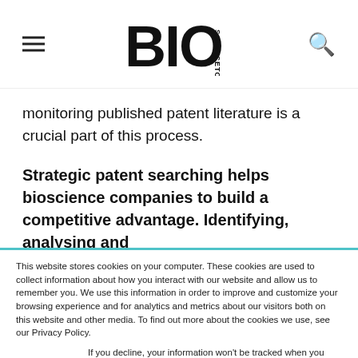BioScienceToday
monitoring published patent literature is a crucial part of this process.
Strategic patent searching helps bioscience companies to build a competitive advantage. Identifying, analysing and
This website stores cookies on your computer. These cookies are used to collect information about how you interact with our website and allow us to remember you. We use this information in order to improve and customize your browsing experience and for analytics and metrics about our visitors both on this website and other media. To find out more about the cookies we use, see our Privacy Policy.
If you decline, your information won't be tracked when you visit this website. A single cookie will be used in your browser to remember your preference not to be tracked.